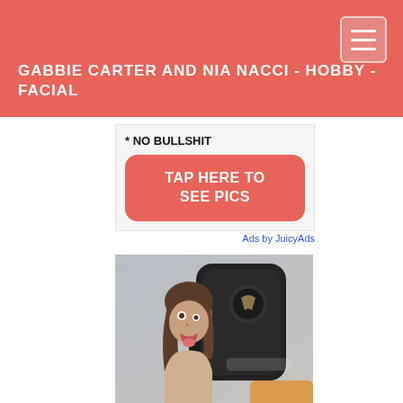GABBIE CARTER AND NIA NACCI - HOBBY - FACIAL
[Figure (infographic): Advertisement image with text '* NO BULLSHIT' and an orange rounded button reading 'TAP HERE TO SEE PICS', with 'Ads by JuicyAds' caption below]
Ads by JuicyAds
[Figure (photo): Young woman with brown hair sticking out her tongue, seated in front of a black gaming chair with a logo on it, gray background]